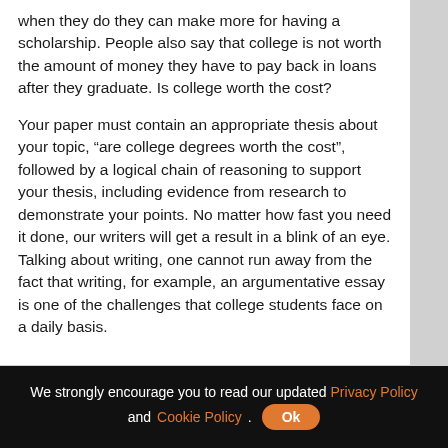when they do they can make more for having a scholarship. People also say that college is not worth the amount of money they have to pay back in loans after they graduate. Is college worth the cost?
Your paper must contain an appropriate thesis about your topic, “are college degrees worth the cost”, followed by a logical chain of reasoning to support your thesis, including evidence from research to demonstrate your points. No matter how fast you need it done, our writers will get a result in a blink of an eye. Talking about writing, one cannot run away from the fact that writing, for example, an argumentative essay is one of the challenges that college students face on a daily basis.
We strongly encourage you to read our updated Privacy Policy and Cookie Policy. Ok